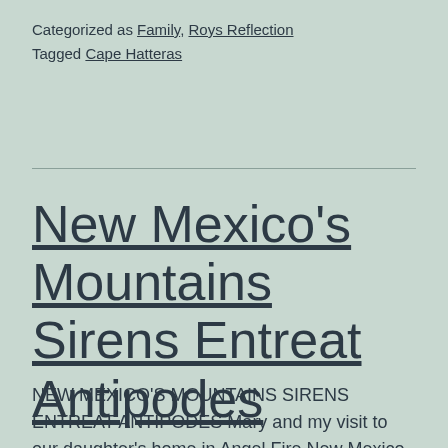Categorized as Family, Roys Reflection
Tagged Cape Hatteras
New Mexico's Mountains Sirens Entreat Antipodes
NEW MEXICO'S MOUNTAINS SIRENS ENTREAT ANTIPODES Mary and my visit to our daughter's home in Angel Fire New Mexico